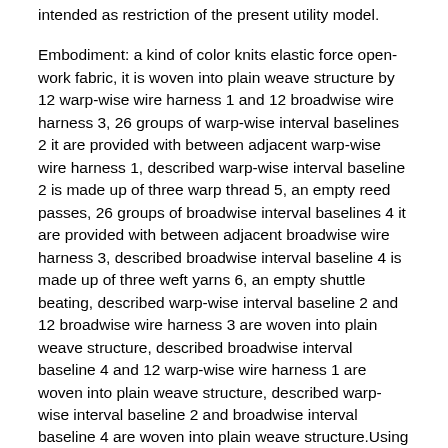intended as restriction of the present utility model.
Embodiment: a kind of color knits elastic force open-work fabric, it is woven into plain weave structure by 12 warp-wise wire harness 1 and 12 broadwise wire harness 3, 26 groups of warp-wise interval baselines 2 it are provided with between adjacent warp-wise wire harness 1, described warp-wise interval baseline 2 is made up of three warp thread 5, an empty reed passes, 26 groups of broadwise interval baselines 4 it are provided with between adjacent broadwise wire harness 3, described broadwise interval baseline 4 is made up of three weft yarns 6, an empty shuttle beating, described warp-wise interval baseline 2 and 12 broadwise wire harness 3 are woven into plain weave structure, described broadwise interval baseline 4 and 12 warp-wise wire harness 1 are woven into plain weave structure, described warp-wise interval baseline 2 and broadwise interval baseline 4 are woven into plain weave structure.Using plain weave structure, fabric tightness is big, firmly。Empty reed and empty latitude arrangement, form certain space, and fabric breathability is good。Being spaced formation grid effect, appearance looks elegant is novel.